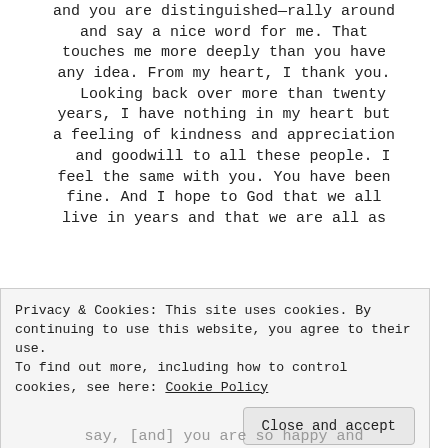and you are distinguished—rally around and say a nice word for me. That touches me more deeply than you have any idea. From my heart, I thank you. Looking back over more than twenty years, I have nothing in my heart but a feeling of kindness and appreciation and goodwill to all these people. I feel the same with you. You have been fine. And I hope to God that we all live in years and that we are all as
Privacy & Cookies: This site uses cookies. By continuing to use this website, you agree to their use.
To find out more, including how to control cookies, see here: Cookie Policy
[Close and accept]
say, [and] you are so happy and